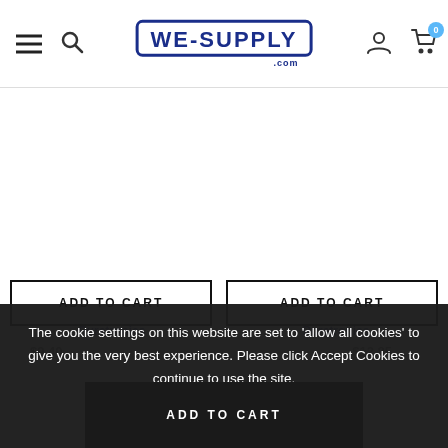WE-SUPPLY.com — navigation header with hamburger menu, search, logo, user account, and cart (0 items)
ADD TO CART
ADD TO CART
Puretronics
Puretronics
The cookie settings on this website are set to 'allow all cookies' to give you the very best experience. Please click Accept Cookies to continue to use the site.
PRIVACY POLICY
ACCEPT ✓
ADD TO CART